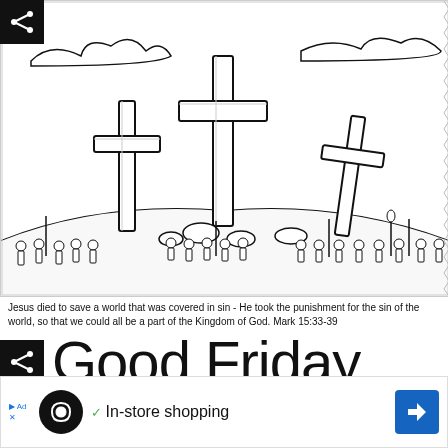[Figure (illustration): Black and white coloring page illustration showing three crosses on a hill (Golgotha) with crowds of people gathered around them, clouds in the sky. Line art / coloring book style.]
Jesus died to save a world that was covered in sin - He took the punishment for the sin of the world, so that we could all be a part of the Kingdom of God. Mark 15:33-39
Good Friday
In-store shopping